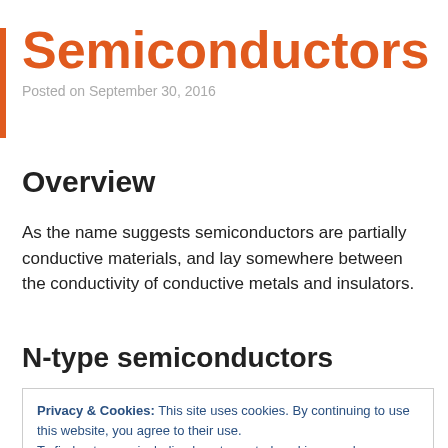Semiconductors
Posted on September 30, 2016
Overview
As the name suggests semiconductors are partially conductive materials, and lay somewhere between the conductivity of conductive metals and insulators.
N-type semiconductors
Privacy & Cookies: This site uses cookies. By continuing to use this website, you agree to their use.
To find out more, including how to control cookies, see here: Cookie Policy
The name derives from negative charge. This is because of